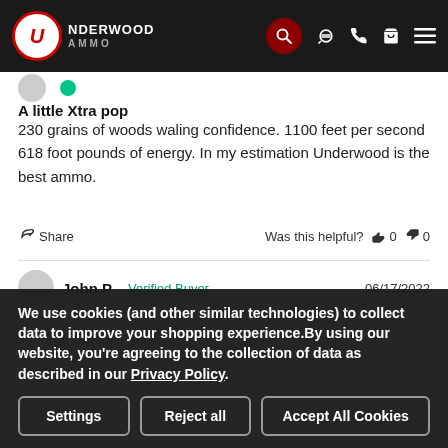[Figure (logo): Underwood Ammo logo on dark header with search, phone, cart, and menu icons]
A little Xtra pop
230 grains of woods waling confidence. 1100 feet per second 618 foot pounds of energy. In my estimation Underwood is the best ammo.
Share   Was this helpful?  👍 0  👎 0
John P   Verified Buyer   06/17/2022
We use cookies (and other similar technologies) to collect data to improve your shopping experience.By using our website, you're agreeing to the collection of data as described in our Privacy Policy.
Settings   Reject all   Accept All Cookies